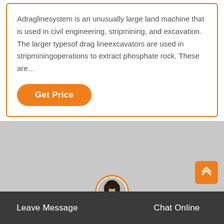Adraglinesystem is an unusually large land machine that is used in civil engineering, stripmining, and excavation. The larger typesof drag lineexcavators are used in stripminingoperations to extract phosphate rock. These are…
[Figure (other): Orange 'Get Price' button with rounded corners]
[Figure (photo): Gray placeholder image section]
[Figure (photo): Customer service representative avatar with headset, circular orange-bordered frame]
Leave Message
Chat Online